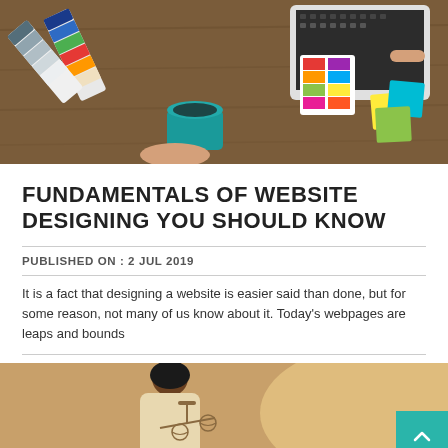[Figure (photo): Overhead view of a desk with color swatches, laptop, coffee cup, sticky notes, and hands of two people working on design]
FUNDAMENTALS OF WEBSITE DESIGNING YOU SHOULD KNOW
PUBLISHED ON : 2 Jul 2019
It is a fact that designing a website is easier said than done, but for some reason, not many of us know about it. Today's webpages are leaps and bounds
[Figure (photo): Woman in business attire holding a balance scale, representing law or decision-making]